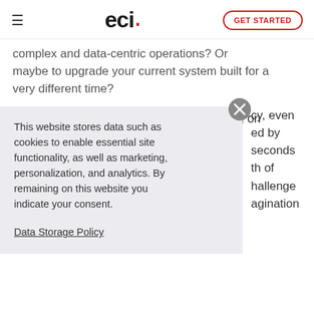eci GET STARTED
complex and data-centric operations? Or maybe to upgrade your current system built for a very different time?
7. A time for reimagination. What's going on
This website stores data such as cookies to enable essential site functionality, as well as marketing, personalization, and analytics. By remaining on this website you indicate your consent.

Data Storage Policy
cy, even
ed by
seconds
th of
nallenge
ragination